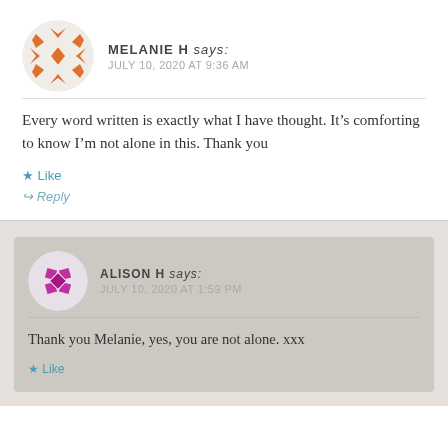MELANIE H says: JULY 10, 2020 AT 9:36 AM
Every word written is exactly what I have thought. It’s comforting to know I’m not alone in this. Thank you
★ Like
↪ Reply
ALISON H says: JULY 10, 2020 AT 1:59 PM
Thank you Melanie, yes, you are not alone. xxx
★ Like